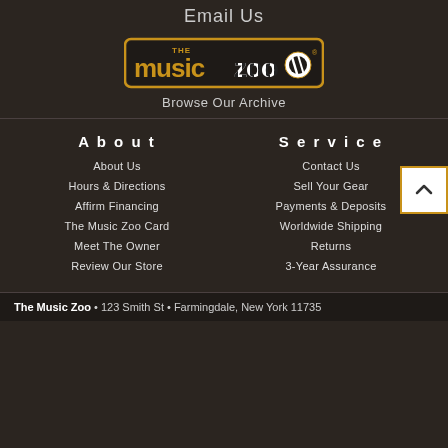Email Us
[Figure (logo): The Music Zoo logo with zebra-striped letters and orange border]
Browse Our Archive
About
About Us
Hours & Directions
Affirm Financing
The Music Zoo Card
Meet The Owner
Review Our Store
Service
Contact Us
Sell Your Gear
Payments & Deposits
Worldwide Shipping
Returns
3-Year Assurance
The Music Zoo • 123 Smith St • Farmingdale, New York 11735